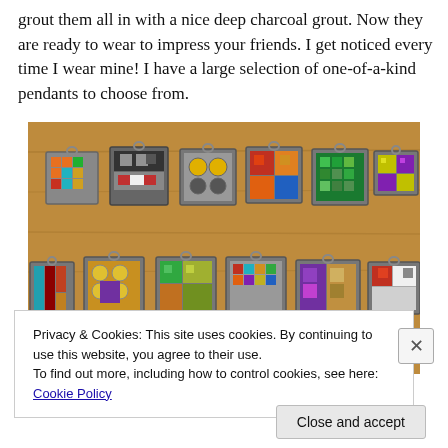grout them all in with a nice deep charcoal grout. Now they are ready to wear to impress your friends. I get noticed every time I wear mine! I have a large selection of one-of-a-kind pendants to choose from.
[Figure (photo): A collection of colorful mosaic tile pendants hanging on hooks against a wooden background. Two rows of square pendants with various mosaic designs in bright colors including orange, teal, green, red, purple, yellow, and blue.]
Privacy & Cookies: This site uses cookies. By continuing to use this website, you agree to their use.
To find out more, including how to control cookies, see here: Cookie Policy